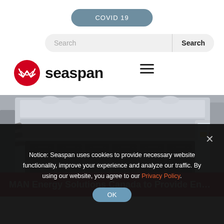COVID 19
Search
[Figure (logo): Seaspan logo with red circular icon and wordmark 'seaspan' in black, with hamburger menu icon]
[Figure (photo): Industrial marine engine machinery in grey and black tones]
MAN Energy Solutions Canada to Provide Engines
Notice: Seaspan uses cookies to provide necessary website functionality, improve your experience and analyze our traffic. By using our website, you agree to our Privacy Policy.
OK